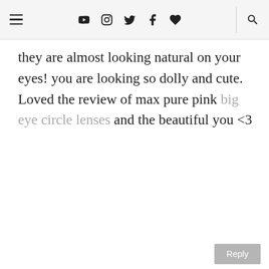Navigation header with hamburger menu and social icons: YouTube, Instagram, Twitter, Facebook, heart, and search
they are almost looking natural on your eyes! you are looking so dolly and cute. Loved the review of max pure pink big eye circle lenses and the beautiful you <3
UNKNOWN
April 15, 2014 at 1:29 AM
Good Day!!Love your blog! love those pink contacts on you! you look stunning